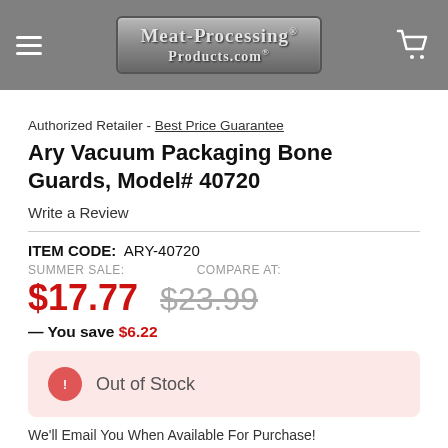Meat-Processing Products.com
Authorized Retailer - Best Price Guarantee
Ary Vacuum Packaging Bone Guards, Model# 40720
Write a Review
ITEM CODE: ARY-40720
SUMMER SALE: $17.77  COMPARE AT: $23.99  — You save $6.22
Out of Stock
We'll Email You When Available For Purchase!